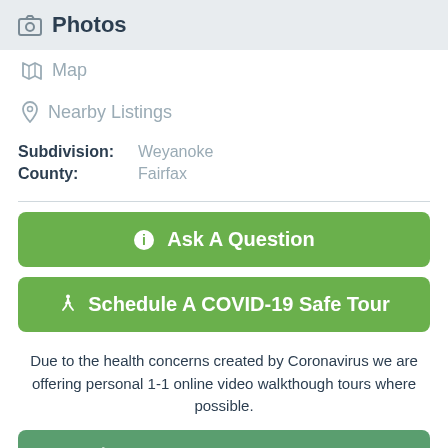Photos
Map
Nearby Listings
Subdivision: Weyanoke
County: Fairfax
Ask A Question
Schedule A COVID-19 Safe Tour
Due to the health concerns created by Coronavirus we are offering personal 1-1 online video walkthough tours where possible.
Call Now (703) 898-3565